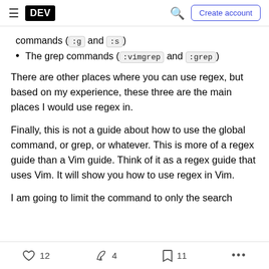DEV — Create account
commands (:g and :s)
The grep commands (:vimgrep and :grep)
There are other places where you can use regex, but based on my experience, these three are the main places I would use regex in.
Finally, this is not a guide about how to use the global command, or grep, or whatever. This is more of a regex guide than a Vim guide. Think of it as a regex guide that uses Vim. It will show you how to use regex in Vim.
I am going to limit the command to only the search
12  4  11  ...